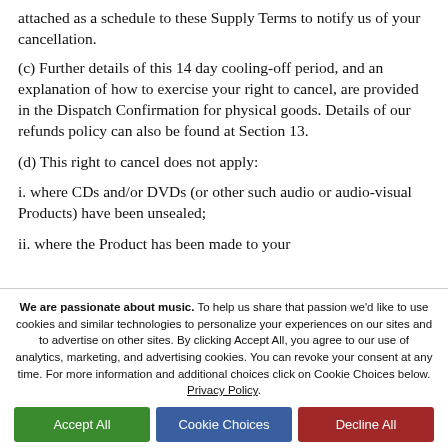attached as a schedule to these Supply Terms to notify us of your cancellation.
(c) Further details of this 14 day cooling-off period, and an explanation of how to exercise your right to cancel, are provided in the Dispatch Confirmation for physical goods. Details of our refunds policy can also be found at Section 13.
(d) This right to cancel does not apply:
i. where CDs and/or DVDs (or other such audio or audio-visual Products) have been unsealed;
ii. where the Product has been made to your
We are passionate about music. To help us share that passion we'd like to use cookies and similar technologies to personalize your experiences on our sites and to advertise on other sites. By clicking Accept All, you agree to our use of analytics, marketing, and advertising cookies. You can revoke your consent at any time. For more information and additional choices click on Cookie Choices below. Privacy Policy.